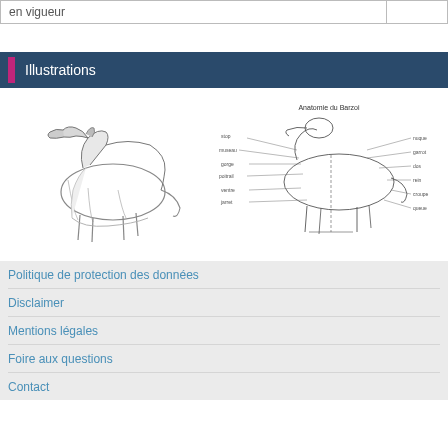| en vigueur |  |
Illustrations
[Figure (illustration): Sketch of a borzoi (sighthound) dog standing in profile view, black and white pencil illustration.]
[Figure (engineering-diagram): Anatomical diagram of a dog labeled 'Anatomie du Barzoi' with numerous labeled body parts and measurements indicated by lines.]
Politique de protection des données
Disclaimer
Mentions légales
Foire aux questions
Contact